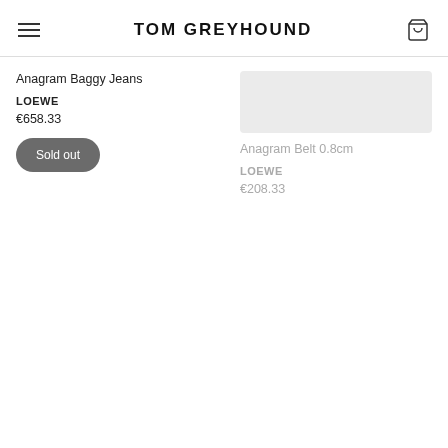TOM GREYHOUND
Anagram Baggy Jeans
LOEWE
€658.33
Anagram Belt 0.8cm
LOEWE
€208.33